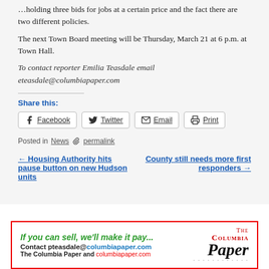there are two different policies.
The next Town Board meeting will be Thursday, March 21 at 6 p.m. at Town Hall.
To contact reporter Emilia Teasdale email eteasdale@columbiapaper.com
Share this:
Facebook  Twitter  Email  Print
Posted in News  permalink
← Housing Authority hits pause button on new Hudson units
County still needs more first responders →
[Figure (infographic): Advertisement for The Columbia Paper with red border. Text: 'If you can sell, we'll make it pay...' in green italic, 'Contact pteasdale@columbiapaper.com' in black/blue, 'The Columbia Paper and columbiapaper.com' in red/black, with The Columbia Paper logo on the right.]